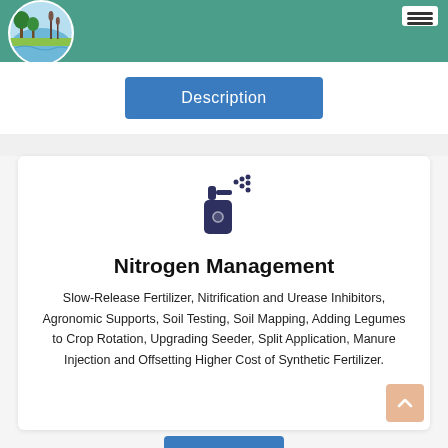[Figure (logo): Circular logo with trees and water/wetland scene on teal background header bar]
Description
[Figure (illustration): Dark blue spray bottle / fertilizer applicator icon with dots]
Nitrogen Management
Slow-Release Fertilizer, Nitrification and Urease Inhibitors, Agronomic Supports, Soil Testing, Soil Mapping, Adding Legumes to Crop Rotation, Upgrading Seeder, Split Application, Manure Injection and Offsetting Higher Cost of Synthetic Fertilizer.